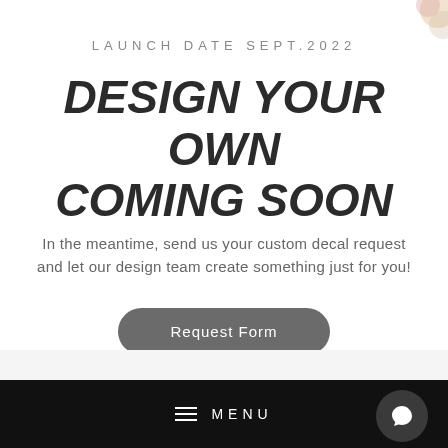LAUNCH DATE SEPT.2022
DESIGN YOUR OWN COMING SOON
In the meantime, send us your custom decal request and let our design team create something just for you!
Request Form
MENU